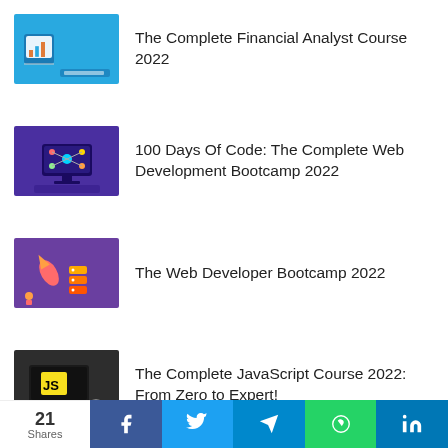[Figure (illustration): Course thumbnail for The Complete Financial Analyst Course 2022 - blue background with bar chart and laptop icons]
The Complete Financial Analyst Course 2022
[Figure (illustration): Course thumbnail for 100 Days Of Code - purple background with network/web development graphics]
100 Days Of Code: The Complete Web Development Bootcamp 2022
[Figure (illustration): Course thumbnail for The Web Developer Bootcamp 2022 - purple background with rocket/laptop illustration]
The Web Developer Bootcamp 2022
[Figure (illustration): Course thumbnail for The Complete JavaScript Course 2022 - dark background with JS logo]
The Complete JavaScript Course 2022: From Zero to Expert!
21 Shares